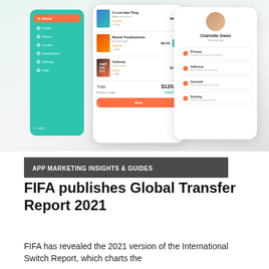[Figure (screenshot): Screenshot of a mobile app UI showing three phone screens: a left sidebar navigation in teal, a center shopping cart screen with books (A Love Hate Thing, Muscle Troubleshooter, Authority) showing a total of $120.00, and a right profile screen showing Charlotte Owen (Freelancer) with menu items Privacy, Address, General, Sorting.]
APP MARKETING INSIGHTS & GUIDES
FIFA publishes Global Transfer Report 2021
FIFA has revealed the 2021 version of the International Switch Report, which charts the